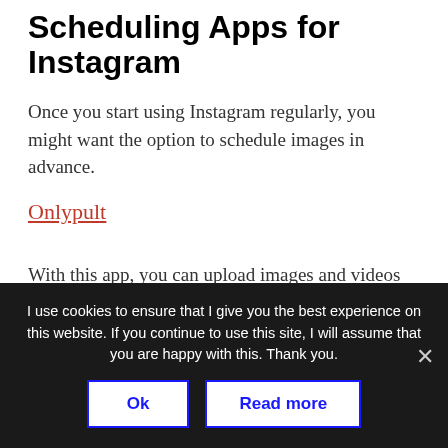Scheduling Apps for Instagram
Once you start using Instagram regularly, you might want the option to schedule images in advance.
Onlypult
With this app, you can upload images and videos from your computer, not just your smartphone. Onlypult also provides analytics. Plans start at
I use cookies to ensure that I give you the best experience on this website. If you continue to use this site, I will assume that you are happy with this. Thank you.